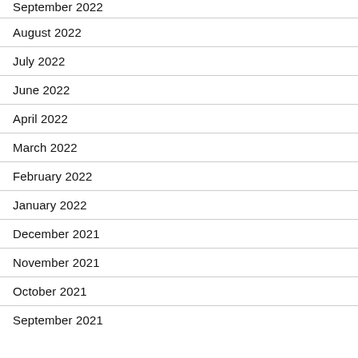September 2022
August 2022
July 2022
June 2022
April 2022
March 2022
February 2022
January 2022
December 2021
November 2021
October 2021
September 2021